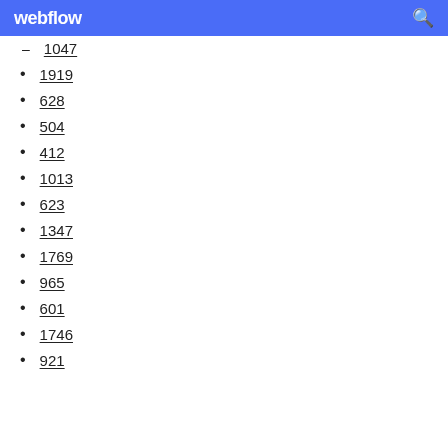webflow
1047
1919
628
504
412
1013
623
1347
1769
965
601
1746
921